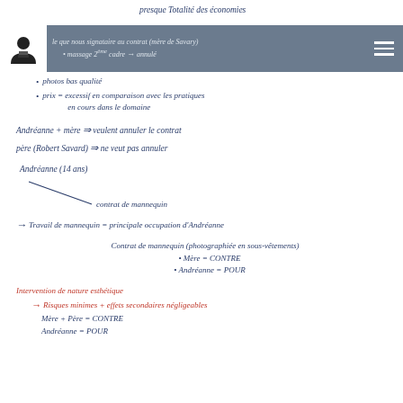presque Totalité des économies
le que nous signataire au contrat (mère de Savary)
• massage 2ème cadre → annulé
• photos bas qualité
• prix = excessif en comparaison avec les pratiques en cours dans le domaine
Andréanne + mère → veulent annuler le contrat
père (Robert Savard) → ne veut pas annuler
Andréanne (14 ans)
    contrat de mannequin
→ Travail de mannequin = principale occupation d'Andréanne
Contrat de mannequin (photographiée en sous-vêtements)
• Mère = CONTRE
• Andréanne = POUR
Intervention de nature esthétique
→ Risques minimes + effets secondaires négligeables
Mère + Père = CONTRE
Andréanne = POUR